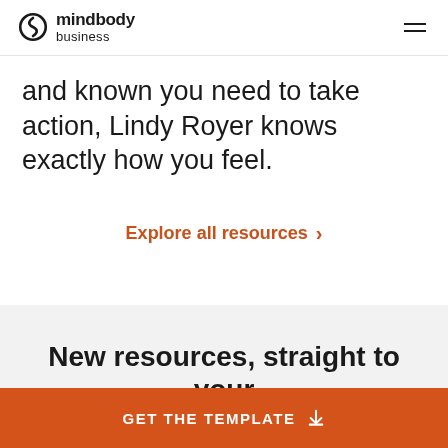mindbody business
and known you need to take action, Lindy Royer knows exactly how you feel.
Explore all resources >
New resources, straight to your inbox
GET THE TEMPLATE